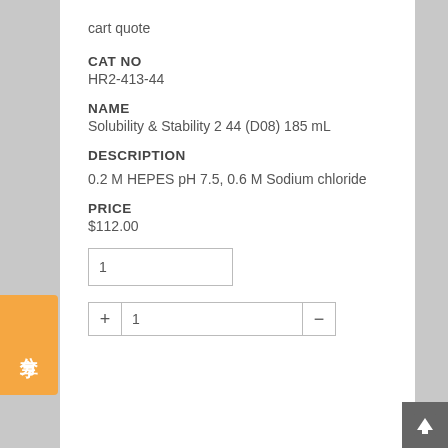cart quote
CAT NO
HR2-413-44
NAME
Solubility & Stability 2 44 (D08) 185 mL
DESCRIPTION
0.2 M HEPES pH 7.5, 0.6 M Sodium chloride
PRICE
$112.00